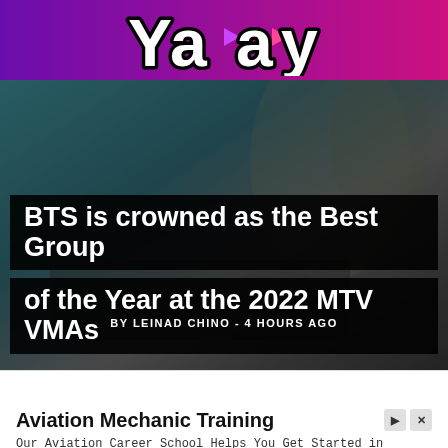[Figure (logo): Yaay logo with white bold text and black outline on purple-to-pink gradient header bar]
[Figure (photo): Dark background hero image with teal upper left blending to dark tones, appears to show a person with artwork in background]
BTS is crowned as the Best Group of the Year at the 2022 MTV VMAs
BY LEINAD CHINO - 4 HOURS AGO
Aviation Mechanic Training
Our Aviation Career School Helps You Get Started in Aviation Maintenance. Contact AIM Now.
AIM Institute  Open